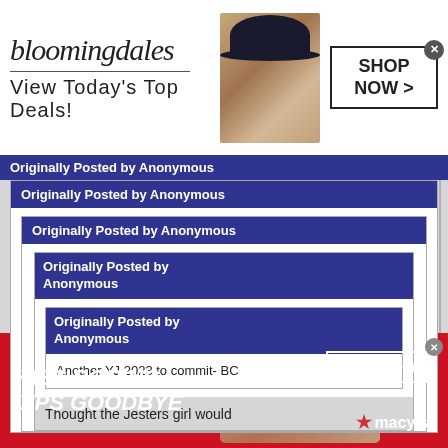[Figure (screenshot): Bloomingdales advertisement banner: logo, 'View Today's Top Deals!', model with hat, SHOP NOW button]
Originally Posted by Anonymous
Originally Posted by Anonymous
Originally Posted by Anonymous
Originally Posted by Anonymous
Originally Posted by Anonymous
Another YJ 2023 to commit- BC
Thought the Jesters girl would
[Figure (screenshot): Macy's advertisement banner: 'KISS BORING LIPS GOODBYE', red lipstick model, SHOP NOW button, Macy's star logo]